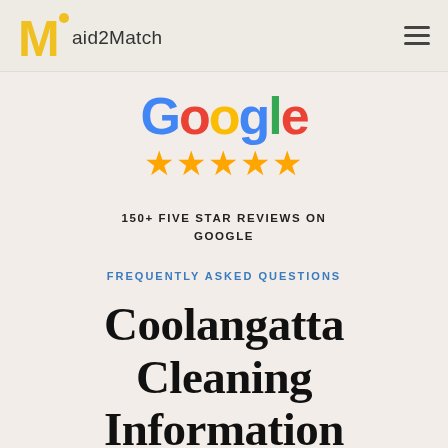Maid2Match
[Figure (logo): Google logo text in multicolor (blue, red, yellow, green) with five orange/gold star rating below]
150+ FIVE STAR REVIEWS ON GOOGLE
FREQUENTLY ASKED QUESTIONS
Coolangatta Cleaning Information